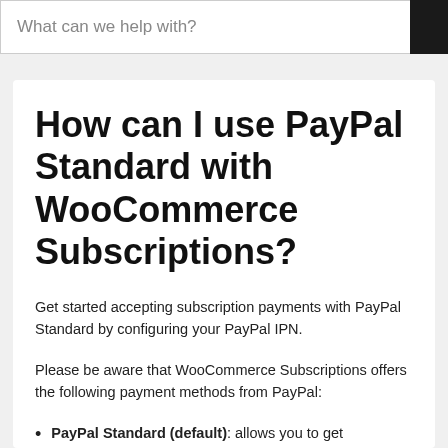What can we help with?
How can I use PayPal Standard with WooCommerce Subscriptions?
Get started accepting subscription payments with PayPal Standard by configuring your PayPal IPN.
Please be aware that WooCommerce Subscriptions offers the following payment methods from PayPal:
PayPal Standard (default): allows you to get